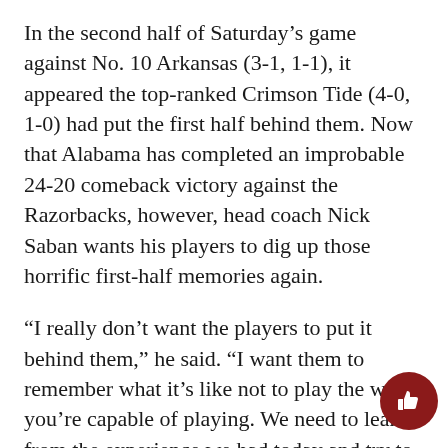In the second half of Saturday's game against No. 10 Arkansas (3-1, 1-1), it appeared the top-ranked Crimson Tide (4-0, 1-0) had put the first half behind them. Now that Alabama has completed an improbable 24-20 comeback victory against the Razorbacks, however, head coach Nick Saban wants his players to dig up those horrific first-half memories again.
“I really don’t want the players to put it behind them,” he said. “I want them to remember what it’s like not to play the way you’re capable of playing. We need to learn from the experience we had today and try to improve as a football team.”
The trouble started in the very first minute of the game. The first play from scrimmage was a 31-yard pass from Arkansas quarterback Ryan Mallett to receiver Jarius Wright. The second play was a 43-yard